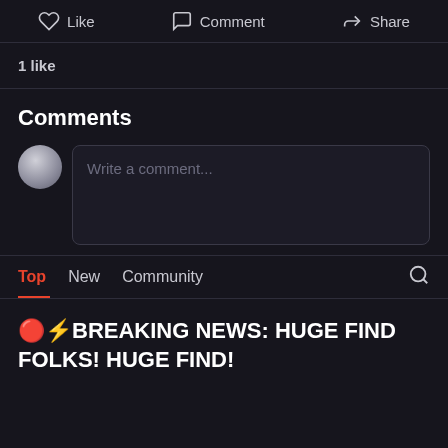Like  Comment  Share
1 like
Comments
Write a comment...
Top  New  Community
🔴⚡BREAKING NEWS: HUGE FIND FOLKS! HUGE FIND!